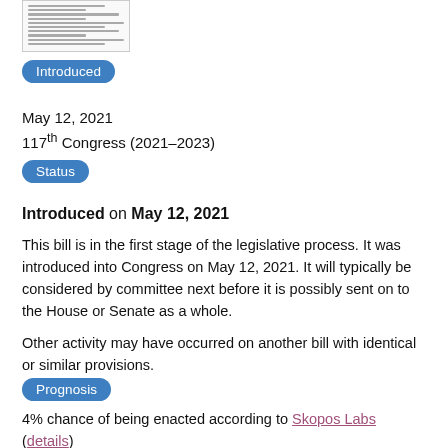[Figure (other): Small thumbnail image of a legislative document/bill]
Introduced
May 12, 2021
117th Congress (2021–2023)
Status
Introduced on May 12, 2021
This bill is in the first stage of the legislative process. It was introduced into Congress on May 12, 2021. It will typically be considered by committee next before it is possibly sent on to the House or Senate as a whole.
Other activity may have occurred on another bill with identical or similar provisions.
Prognosis
4% chance of being enacted according to Skopos Labs (details)